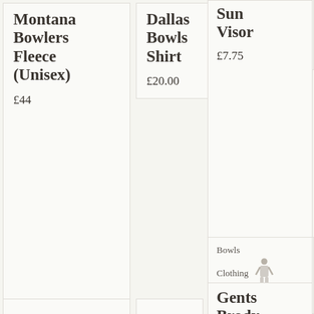Montana Bowlers Fleece (Unisex)
£44
Dallas Bowls Shirt
£20.00
Sun Visor
£7.75
Bowls Clothing
Gents Brody Bowling Shirt
£29.00